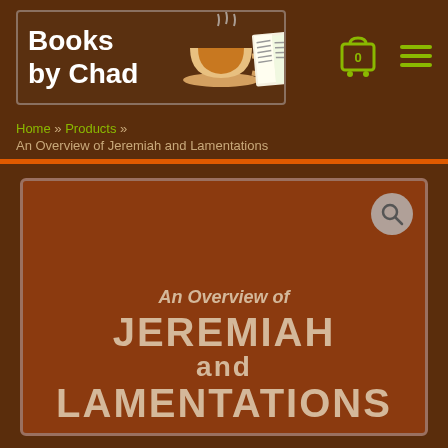[Figure (logo): Books by Chad logo with coffee cup and open book illustration]
[Figure (other): Shopping cart icon with 0 and hamburger menu icon]
Home » Products » An Overview of Jeremiah and Lamentations
[Figure (illustration): Book cover for An Overview of Jeremiah and Lamentations with magnifying glass search button in top right corner]